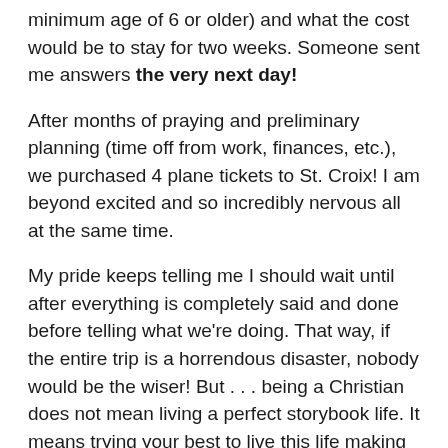minimum age of 6 or older) and what the cost would be to stay for two weeks. Someone sent me answers the very next day!
After months of praying and preliminary planning (time off from work, finances, etc.), we purchased 4 plane tickets to St. Croix! I am beyond excited and so incredibly nervous all at the same time.
My pride keeps telling me I should wait until after everything is completely said and done before telling what we're doing. That way, if the entire trip is a horrendous disaster, nobody would be the wiser! But . . . being a Christian does not mean living a perfect storybook life. It means trying your best to live this life making a difference for eternity.  — Jayme with Cory, Conner and Jenna